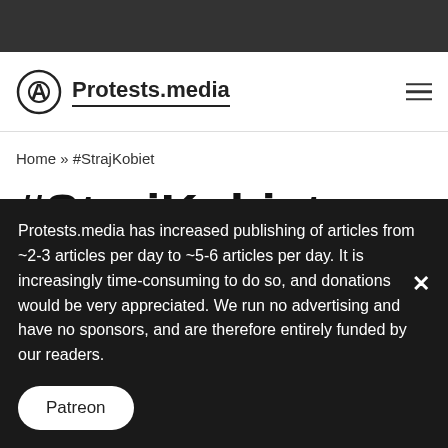Protests.media
Home » #StrajKobiet
#StrajKobiet
5 posts
Protests.media has increased publishing of articles from ~2-3 articles per day to ~5-6 articles per day. It is increasingly time-consuming to do so, and donations would be very appreciated. We run no advertising and have no sponsors, and are therefore entirely funded by our readers.
Patreon